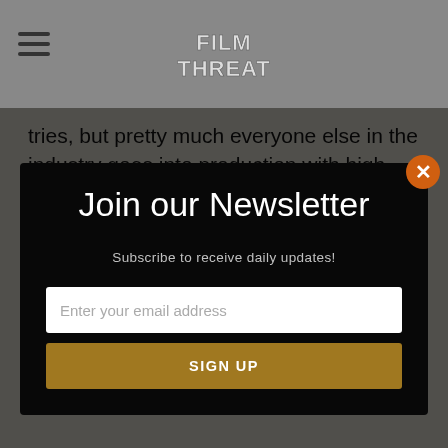Film Threat
tries, but pretty much everyone else in the industry goes into production with high aspirations and good
Join our Newsletter
Subscribe to receive daily updates!
Enter your email address
SIGN UP
cool. Say it over and over again — Donnie Darko, Donnie Darko, Donnie Darko.) Anyway, Donnie has been having some bizarre dreams and his therapist is no help. After lashing out at his family, Donnie lashes out at school